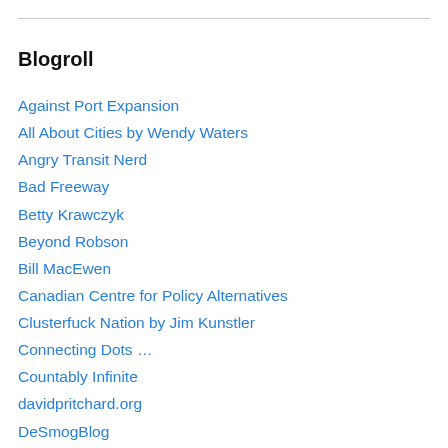Blogroll
Against Port Expansion
All About Cities by Wendy Waters
Angry Transit Nerd
Bad Freeway
Betty Krawczyk
Beyond Robson
Bill MacEwen
Canadian Centre for Policy Alternatives
Clusterfuck Nation by Jim Kunstler
Connecting Dots …
Countably Infinite
davidpritchard.org
DeSmogBlog
Fraser Valley Heritage Railway Society
Gordon Price
Happy Frog